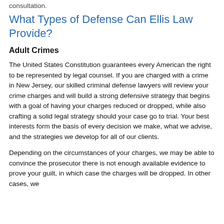consultation.
What Types of Defense Can Ellis Law Provide?
Adult Crimes
The United States Constitution guarantees every American the right to be represented by legal counsel. If you are charged with a crime in New Jersey, our skilled criminal defense lawyers will review your crime charges and will build a strong defensive strategy that begins with a goal of having your charges reduced or dropped, while also crafting a solid legal strategy should your case go to trial. Your best interests form the basis of every decision we make, what we advise, and the strategies we develop for all of our clients.
Depending on the circumstances of your charges, we may be able to convince the prosecutor there is not enough available evidence to prove your guilt, in which case the charges will be dropped. In other cases, we